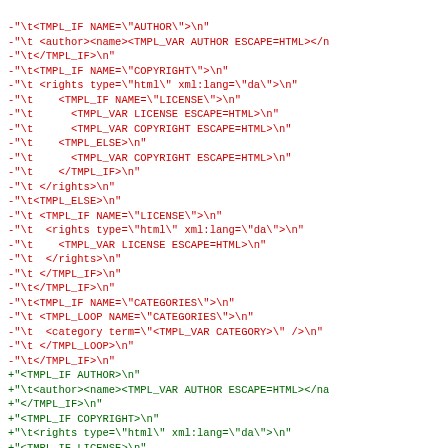diff code block showing removed (red) and added (green) template lines
-"\t<TMPL_IF NAME=\"AUTHOR\">\n"
-"\t <author><name><TMPL_VAR AUTHOR ESCAPE=HTML></n
-"\t</TMPL_IF>\n"
-"\t<TMPL_IF NAME=\"COPYRIGHT\">\n"
-"\t <rights type=\"html\" xml:lang=\"da\">\n"
-"\t    <TMPL_IF NAME=\"LICENSE\">\n"
-"\t      <TMPL_VAR LICENSE ESCAPE=HTML>\n"
-"\t      <TMPL_VAR COPYRIGHT ESCAPE=HTML>\n"
-"\t    <TMPL_ELSE>\n"
-"\t      <TMPL_VAR COPYRIGHT ESCAPE=HTML>\n"
-"\t    </TMPL_IF>\n"
-"\t </rights>\n"
-"\t<TMPL_ELSE>\n"
-"\t <TMPL_IF NAME=\"LICENSE\">\n"
-"\t  <rights type=\"html\" xml:lang=\"da\">\n"
-"\t    <TMPL_VAR LICENSE ESCAPE=HTML>\n"
-"\t  </rights>\n"
-"\t </TMPL_IF>\n"
-"\t</TMPL_IF>\n"
-"\t<TMPL_IF NAME=\"CATEGORIES\">\n"
-"\t <TMPL_LOOP NAME=\"CATEGORIES\">\n"
-"\t  <category term=\"<TMPL_VAR CATEGORY>\" />\n"
-"\t </TMPL_LOOP>\n"
-"\t</TMPL_IF>\n"
+"<TMPL_IF AUTHOR>\n"
+"\t<author><name><TMPL_VAR AUTHOR ESCAPE=HTML></na
+"</TMPL_IF>\n"
+"<TMPL_IF COPYRIGHT>\n"
+"\t<rights type=\"html\" xml:lang=\"da\">\n"
+"<TMPL_IF LICENSE>\n"